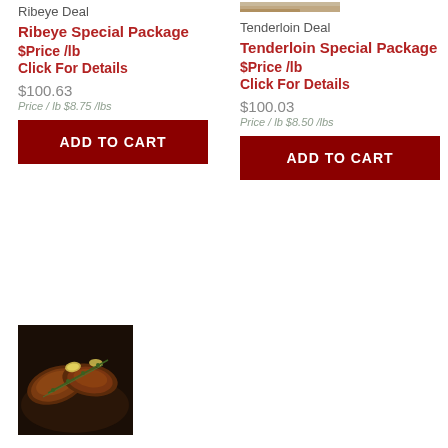Ribeye Deal
Ribeye Special Package
$Price /lb
Click For Details
$100.63
Price / lb $8.75 /lbs
ADD TO CART
Tenderloin Deal
Tenderloin Special Package
$Price /lb
Click For Details
$100.03
Price / lb $8.50 /lbs
ADD TO CART
[Figure (photo): Grilled steaks with rosemary and lemon slices in a pan]